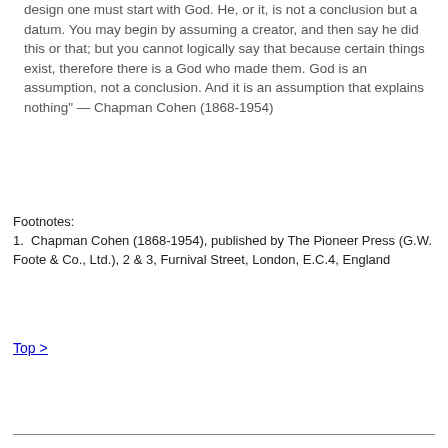design one must start with God. He, or it, is not a conclusion but a datum. You may begin by assuming a creator, and then say he did this or that; but you cannot logically say that because certain things exist, therefore there is a God who made them. God is an assumption, not a conclusion. And it is an assumption that explains nothing" — Chapman Cohen (1868-1954)
Footnotes:
1.  Chapman Cohen (1868-1954), published by The Pioneer Press (G.W. Foote & Co., Ltd.), 2 & 3, Furnival Street, London, E.C.4, England
Top >